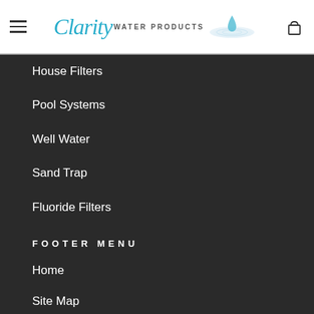Clarity Water Products
House Filters
Pool Systems
Well Water
Sand Trap
Fluoride Filters
FOOTER MENU
Home
Site Map
Contact Us
Terms of Service
Refund policy